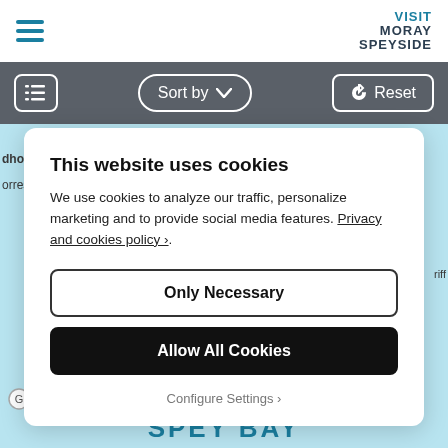VISIT MORAY SPEYSIDE
[Figure (screenshot): Website toolbar with hamburger menu icon, Sort by dropdown, and Reset button on dark grey background]
This website uses cookies
We use cookies to analyze our traffic, personalize marketing and to provide social media features. Privacy and cookies policy ›.
Only Necessary
Allow All Cookies
Configure Settings ›
SPEY BAY